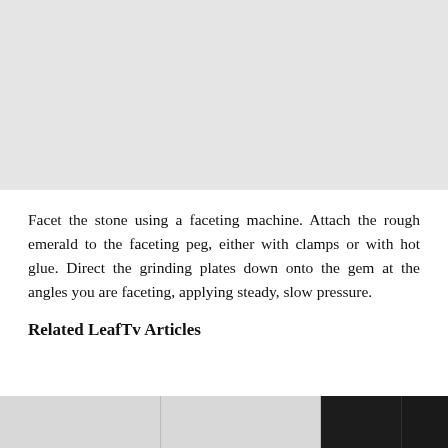[Figure (photo): Gray placeholder image area at the top of the page]
Facet the stone using a faceting machine. Attach the rough emerald to the faceting peg, either with clamps or with hot glue. Direct the grinding plates down onto the gem at the angles you are faceting, applying steady, slow pressure.
Related LeafTv Articles
[Figure (photo): Row of article thumbnail images at the bottom of the page]